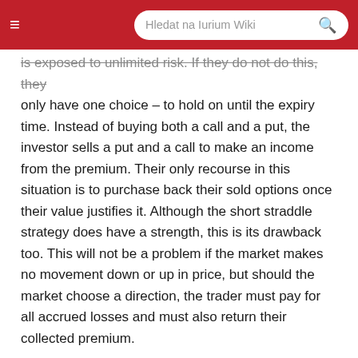Hledat na Iurium Wiki
is exposed to unlimited risk. If they do not do this, they only have one choice – to hold on until the expiry time. Instead of buying both a call and a put, the investor sells a put and a call to make an income from the premium. Their only recourse in this situation is to purchase back their sold options once their value justifies it. Although the short straddle strategy does have a strength, this is its drawback too. This will not be a problem if the market makes no movement down or up in price, but should the market choose a direction, the trader must pay for all accrued losses and must also return their collected premium.
In addition to buying a call, traders also have the option to sell, or write, a put option. Should the spot price go higher than the strike price, buyers won't sell, and the